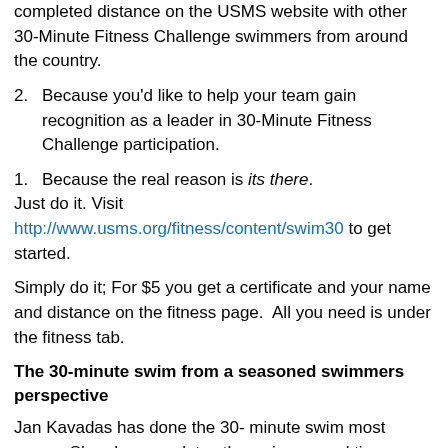completed distance on the USMS website with other 30-Minute Fitness Challenge swimmers from around the country.
2.    Because you'd like to help your team gain recognition as a leader in 30-Minute Fitness Challenge participation.
1.    Because the real reason is its there.
Just do it. Visit http://www.usms.org/fitness/content/swim30 to get started.
Simply do it; For $5 you get a certificate and your name and distance on the fitness page.  All you need is under the fitness tab.
The 30-minute swim from a seasoned swimmers perspective
Jan Kavadas has done the 30- minute swim most years.  She also completes the swim several times during the year.  She enjoys the event and cites the advantages of not being limited to a particular time during the year to complete the swim.  The